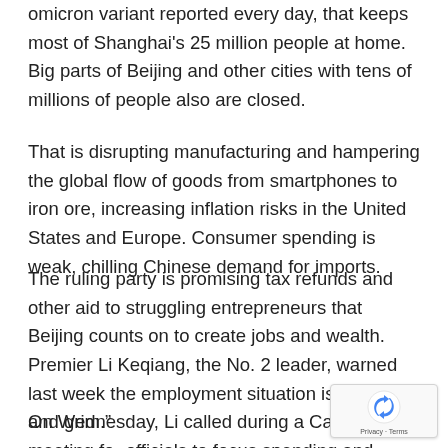omicron variant reported every day, that keeps most of Shanghai's 25 million people at home. Big parts of Beijing and other cities with tens of millions of people also are closed.
That is disrupting manufacturing and hampering the global flow of goods from smartphones to iron ore, increasing inflation risks in the United States and Europe. Consumer spending is weak, chilling Chinese demand for imports.
The ruling party is promising tax refunds and other aid to struggling entrepreneurs that Beijing counts on to create jobs and wealth. Premier Li Keqiang, the No. 2 leader, warned last week the employment situation is “complex and grim.”
On Wednesday, Li called during a Cabinet meeting for officials to focus spending and credit policies on